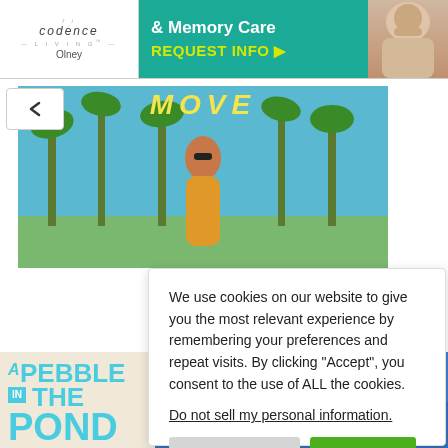[Figure (photo): Advertisement banner for Codence Living senior care, teal background with 'REQUEST INFO' CTA and photo of elderly woman]
[Figure (photo): Movie still showing woman walking among palm trees with 'MOVE' text overlay in yellow]
[Figure (photo): Book/movie poster for 'A Pebble in the Pond' in teal lettering on cream background]
We use cookies on our website to give you the most relevant experience by remembering your preferences and repeat visits. By clicking “Accept”, you consent to the use of ALL the cookies.
Do not sell my personal information.
Cookie Settings
Accept
Privacy Policy